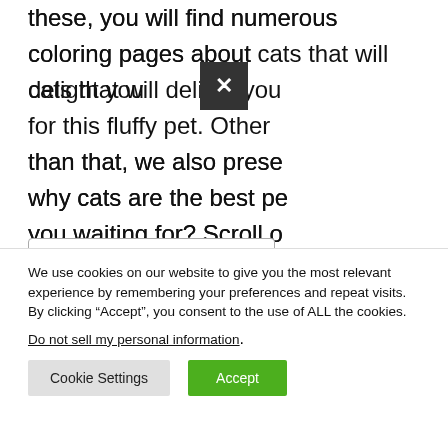these, you will find numerous coloring pages about cats that will delight your love for this fluffy pet. Other than that, we also prese... why cats are the best pe... you waiting for? Scroll o... entertained.
[Figure (screenshot): Dark close (X) button overlay partially covering the article text]
Table of Contents
Why Cat is The Best in...
We use cookies on our website to give you the most relevant experience by remembering your preferences and repeat visits. By clicking “Accept”, you consent to the use of ALL the cookies.
Do not sell my personal information.